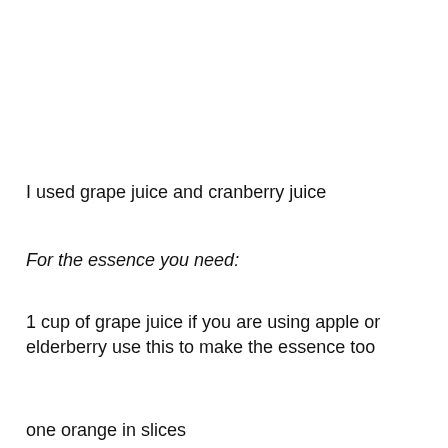I used grape juice and cranberry juice
For the essence you need:
1 cup of grape juice if you are using apple or elderberry use this to make the essence too
one orange in slices
Privacy & Cookies: This site uses cookies. By continuing to use this website, you agree to their use.
To find out more, including how to control cookies, see here: Cookie Policy